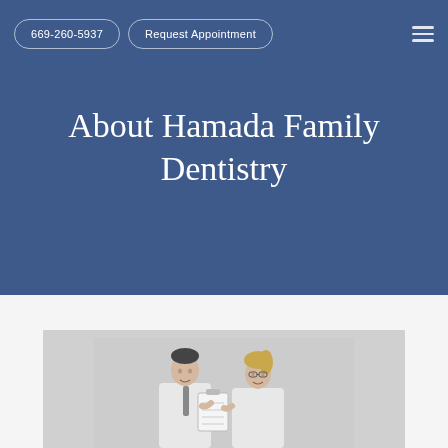669-260-5937 | Request Appointment
About Hamada Family Dentistry
[Figure (photo): Black and white photo of two dental professionals in white lab coats looking at a document or clipboard together]